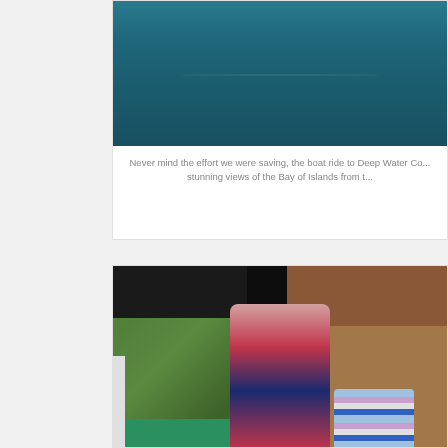[Figure (photo): Aerial or wide view of deep blue/teal ocean water with subtle surface ripples and calm conditions]
Never mind the effort we were saving, the boat ride to Deep Water Cove offered stunning views of the Bay of Islands from t...
[Figure (photo): A woman with glasses and long blonde hair, wearing a red and black jacket, smiling inside a boat cabin. Green forested hills and teal water visible through the windshield on the left. The boat interior shows navigation equipment, a dark ceiling, and a striped seat/cushion visible at bottom right.]